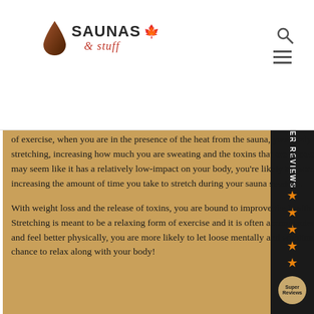Saunas & Stuff - Logo and navigation
of exercise, when you are in the presence of the heat from the sauna, your body has to work harder when stretching, increasing how much you are sweating and the toxins that are released from your body. Although this may seem like it has a relatively low-impact on your body, you’re likely to increase weight loss just by increasing the amount of time you take to stretch during your sauna sessions.
With weight loss and the release of toxins, you are bound to improve the health of the systems within your body. Stretching is meant to be a relaxing form of exercise and it is often accompanied with meditation. As you stretch and feel better physically, you are more likely to let loose mentally and emotionally too, and give your mind a chance to relax along with your body!